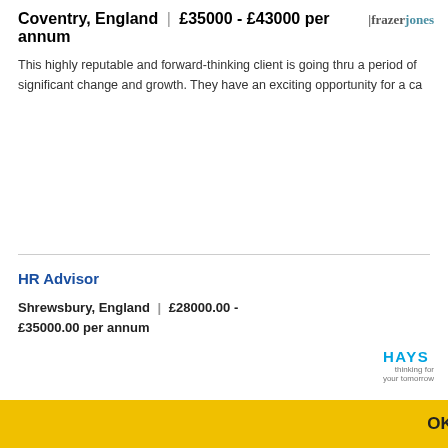Coventry, England | £35000 - £43000 per annum
[Figure (logo): Frazer Jones recruitment agency logo]
This highly reputable and forward-thinking client is going thru a period of significant change and growth. They have an exciting opportunity for a ca
HR Advisor
Shrewsbury, England | £28000.00 - £35000.00 per annum
[Figure (logo): Hays recruitment agency logo]
Senior HR Adviser Shrewsbury Permanent £28,000-£35,000 DOE ... ed in
[Figure (logo): Oakleaf recruitment agency logo - partial]
...will be
This website uses cookies to improve your experience and for ads personalisation. By continuing to browse this site you are agreeing to our use of these cookies. You can learn more about the cookies we use here.
REGIS NO (partial - Register Now button)
OK